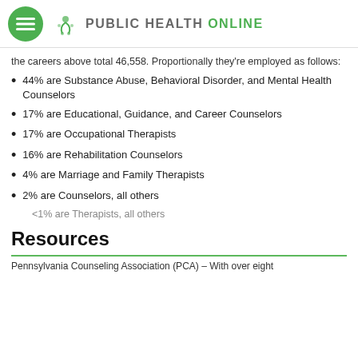PUBLIC HEALTH ONLINE
the careers above total 46,558. Proportionally they're employed as follows:
44% are Substance Abuse, Behavioral Disorder, and Mental Health Counselors
17% are Educational, Guidance, and Career Counselors
17% are Occupational Therapists
16% are Rehabilitation Counselors
4% are Marriage and Family Therapists
2% are Counselors, all others
<1% are Therapists, all others
Resources
Pennsylvania Counseling Association (PCA) – With over eight